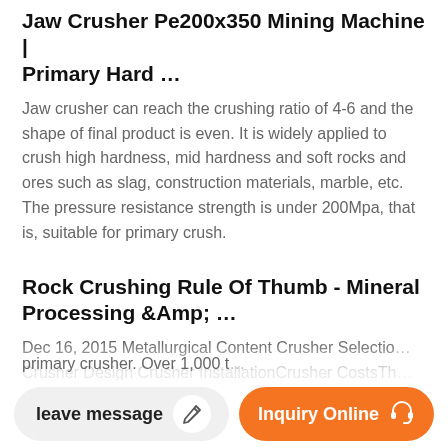Jaw Crusher Pe200x350 Mining Machine | Primary Hard …
Jaw crusher can reach the crushing ratio of 4-6 and the shape of final product is even. It is widely applied to crush high hardness, mid hardness and soft rocks and ores such as slag, construction materials, marble, etc. The pressure resistance strength is under 200Mpa, that is, suitable for primary crush.
Rock Crushing Rule Of Thumb - Mineral Processing &Amp; …
Dec 16, 2015 Metallurgical Content Crusher Selection Crusher Design Crusher InstallationCrusher CostsTh… Crusher's Rock BreakersArea of Application Here is a list of Rules of Thumb often used in Rock Crushing and primary crusher. Over 1,000 t…